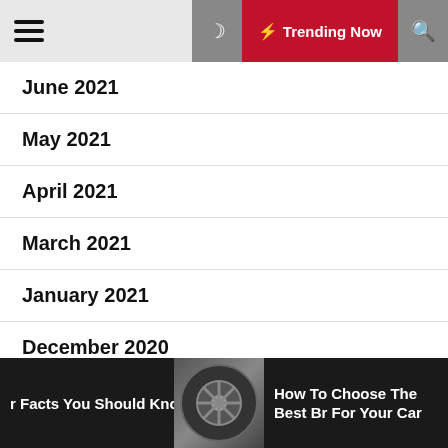≡  Trending Now 🔍
June 2021
May 2021
April 2021
March 2021
January 2021
December 2020
November 2020
r Facts You Should Know  |  How To Choose The Best Br For Your Car